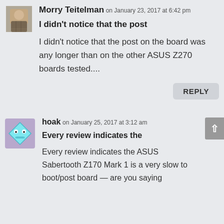[Figure (photo): Avatar photo of Morry Teitelman, a man in a plaid shirt]
Morry Teitelman on January 23, 2017 at 6:42 pm
I didn't notice that the post
I didn't notice that the post on the board was any longer than on the other ASUS Z270 boards tested....
REPLY
[Figure (illustration): Avatar icon of hoak, a cartoon diamond shape with a face]
hoak on January 25, 2017 at 3:12 am
Every review indicates the
Every review indicates the ASUS Sabertooth Z170 Mark 1 is a very slow to boot/post board — are you saying